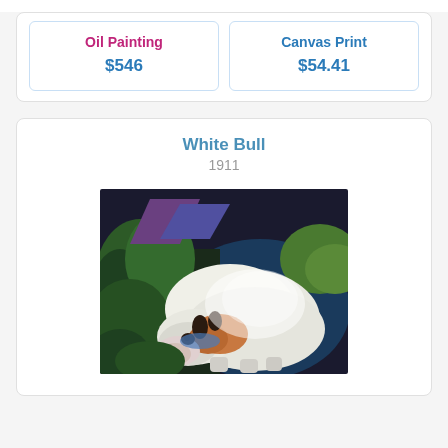Oil Painting
$546
Canvas Print
$54.41
White Bull
1911
[Figure (photo): Painting of a white bull resting, curled up against a dark blue background with green foliage. The bull is primarily white with some brown/reddish shading. This is Franz Marc's 'White Bull' from 1911.]